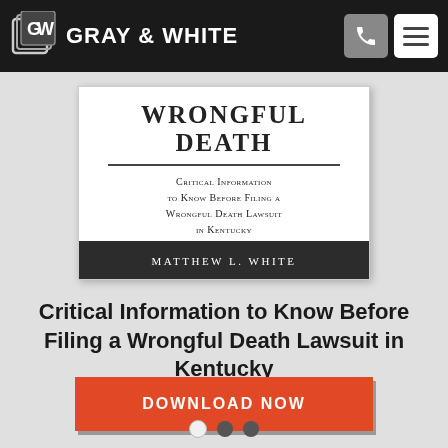GRAY & WHITE
[Figure (illustration): Book cover for 'Wrongful Death: Critical Information to Know Before Filing a Wrongful Death Lawsuit in Kentucky' by Matthew L. White]
Critical Information to Know Before Filing a Wrongful Death Lawsuit in Kentucky
DOWNLOAD NOW